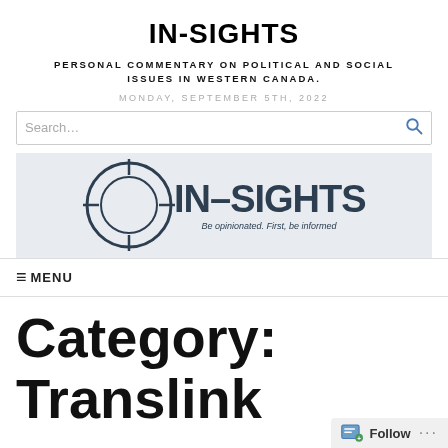IN-SIGHTS
PERSONAL COMMENTARY ON POLITICAL AND SOCIAL ISSUES IN WESTERN CANADA.
MONDAY, SEPTEMBER 5TH, 2022
[Figure (logo): IN-SIGHTS logo with crosshair/target circle graphic and tagline 'Be opinionated. First, be informed']
≡ MENU
Category: Translink